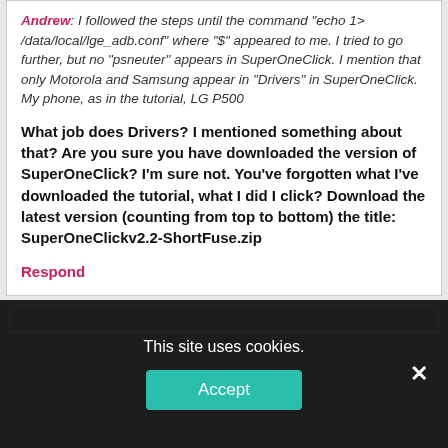Andrew: I followed the steps until the command "echo 1> /data/local/lge_adb.conf" where "$" appeared to me. I tried to go further, but no "psneuter" appears in SuperOneClick. I mention that only Motorola and Samsung appear in "Drivers" in SuperOneClick. My phone, as in the tutorial, LG P500
What job does Drivers? I mentioned something about that? Are you sure you have downloaded the version of SuperOneClick? I'm sure not. You've forgotten what I've downloaded the tutorial, what I did I click? Download the latest version (counting from top to bottom) the title: SuperOneClickv2.2-ShortFuse.zip
Respond
This site uses cookies.